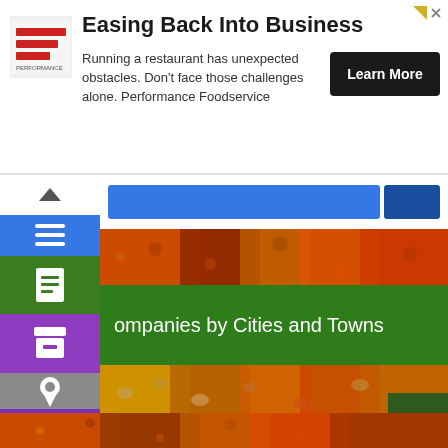[Figure (screenshot): Advertisement banner for Performance Foodservice titled 'Easing Back Into Business'. Shows the company logo on the left, ad text in the middle, and a 'Learn More' button on the right. Ad close button top right.]
[Figure (screenshot): Website navigation sidebar with icons: chevron up, hamburger menu (blue), document/list icon (green), archive/box icon (purple), location pin (grey), and search magnifier (purple). Alongside: search bar (blue), spice image, 'ompanies by Cities and Towns' green menu bar, spice image, 'Business by Countries' green menu bar, scroll-to-top button, bottom spice strip.]
ompanies by Cities and Towns
Business by Countries